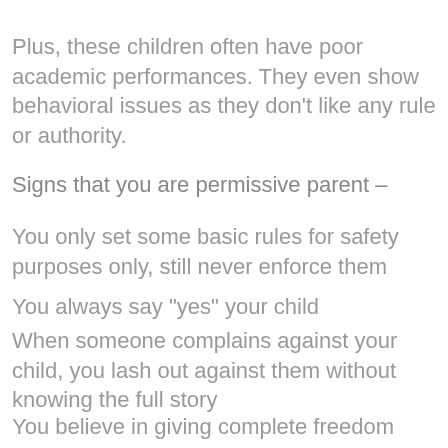Plus, these children often have poor academic performances. They even show behavioral issues as they don't like any rule or authority.
Signs that you are permissive parent –
You only set some basic rules for safety purposes only, still never enforce them
You always say "yes" your child
When someone complains against your child, you lash out against them without knowing the full story
You believe in giving complete freedom (excessive in many cases) to your kids